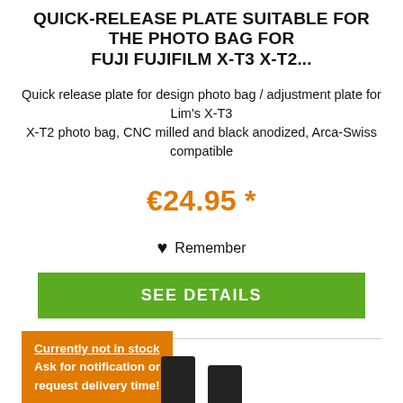QUICK-RELEASE PLATE SUITABLE FOR THE PHOTO BAG FOR FUJI FUJIFILM X-T3 X-T2...
Quick release plate for design photo bag / adjustment plate for Lim's X-T3 X-T2 photo bag, CNC milled and black anodized, Arca-Swiss compatible
€24.95 *
♥ Remember
SEE DETAILS
Currently not in stock Ask for notification or request delivery time!
[Figure (photo): Partial view of camera hardware at bottom of page]